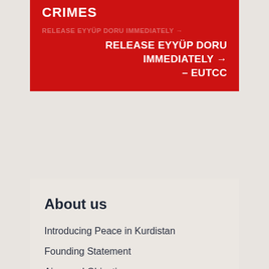CRIMES
RELEASE EYYÜP DORU IMMEDIATELY → – EUTCC
About us
Introducing Peace in Kurdistan
Founding Statement
Aims and Objectives
Support Us
Contact Us